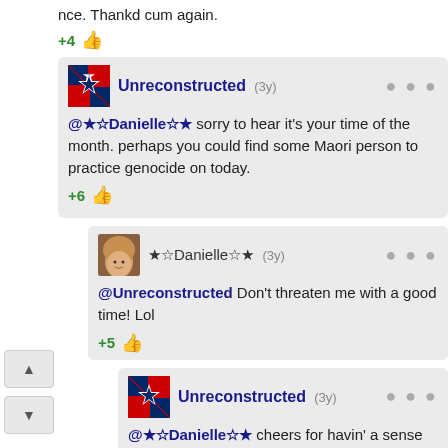nce. Thankd cum again.
+4 👍
Unreconstructed (3y) @★☆Danielle☆★ sorry to hear it's your time of the month. perhaps you could find some Maori person to practice genocide on today.
+6 👍
★☆Danielle☆★ (3y) @Unreconstructed Don't threaten me with a good time! Lol
+5 👍
Unreconstructed (3y) @★☆Danielle☆★ cheers for havin' a sense of humor & an IQ that might possibly measure legitimately. But, please don't harm a Maori, and, this season of AHS does, yet again, suck. I hate sayin' that, too, 'cause I f**kin' love Frances